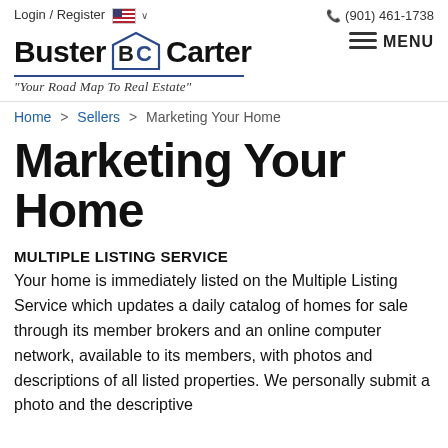Login / Register  🇺🇸 ∨  (901) 461-1738
[Figure (logo): Buster Carter real estate logo with BC badge in a hexagonal/house shape, and tagline 'Your Road Map To Real Estate']
Home > Sellers > Marketing Your Home
Marketing Your Home
MULTIPLE LISTING SERVICE
Your home is immediately listed on the Multiple Listing Service which updates a daily catalog of homes for sale through its member brokers and an online computer network, available to its members, with photos and descriptions of all listed properties. We personally submit a photo and the descriptive